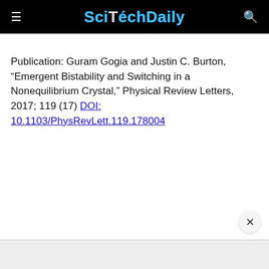SciTechDaily
Publication: Guram Gogia and Justin C. Burton, “Emergent Bistability and Switching in a Nonequilibrium Crystal,” Physical Review Letters, 2017; 119 (17) DOI: 10.1103/PhysRevLett.119.178004